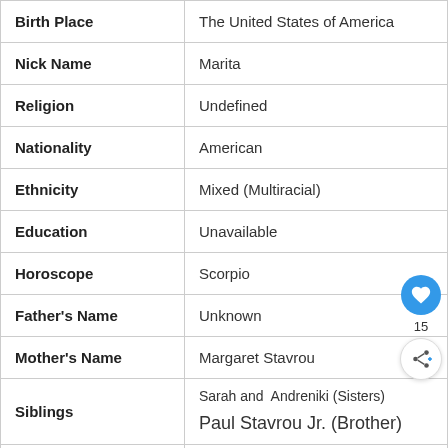| Field | Value |
| --- | --- |
| Birth Place | The United States of America |
| Nick Name | Marita |
| Religion | Undefined |
| Nationality | American |
| Ethnicity | Mixed (Multiracial) |
| Education | Unavailable |
| Horoscope | Scorpio |
| Father's Name | Unknown |
| Mother's Name | Margaret Stavrou |
| Siblings | Sarah and  Andreniki (Sisters)
Paul Stavrou Jr. (Brother) |
| Age | 56 Years Old |
| Height | 5'9″ (1.78 m) |